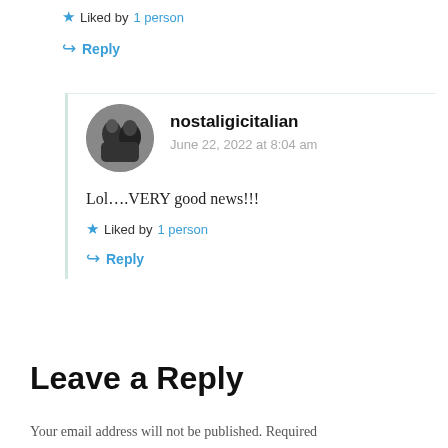★ Liked by 1 person
↪ Reply
nostaligicitalian
June 22, 2022 at 8:04 am
Lol….VERY good news!!!
★ Liked by 1 person
↪ Reply
Leave a Reply
Your email address will not be published. Required